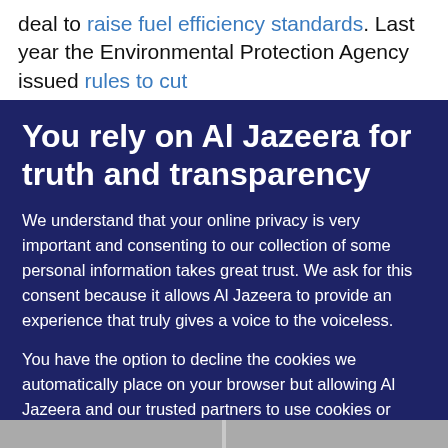deal to raise fuel efficiency standards. Last year the Environmental Protection Agency issued rules to cut
You rely on Al Jazeera for truth and transparency
We understand that your online privacy is very important and consenting to our collection of some personal information takes great trust. We ask for this consent because it allows Al Jazeera to provide an experience that truly gives a voice to the voiceless.
You have the option to decline the cookies we automatically place on your browser but allowing Al Jazeera and our trusted partners to use cookies or similar technologies helps us improve our content and offerings to you. You can change your privacy preferences at any time by selecting ‘Cookie preferences’ at the bottom of your screen. To learn more, please view our Cookie Policy.